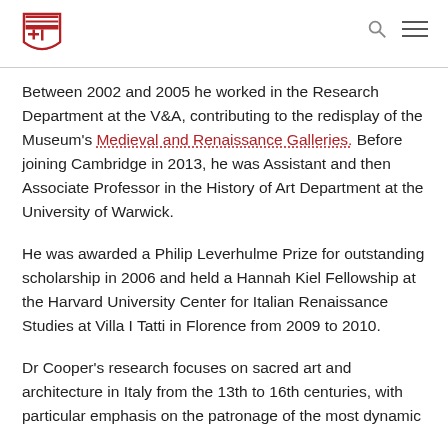Harvard shield logo with search and menu icons
Between 2002 and 2005 he worked in the Research Department at the V&A, contributing to the redisplay of the Museum's Medieval and Renaissance Galleries. Before joining Cambridge in 2013, he was Assistant and then Associate Professor in the History of Art Department at the University of Warwick.
He was awarded a Philip Leverhulme Prize for outstanding scholarship in 2006 and held a Hannah Kiel Fellowship at the Harvard University Center for Italian Renaissance Studies at Villa I Tatti in Florence from 2009 to 2010.
Dr Cooper's research focuses on sacred art and architecture in Italy from the 13th to 16th centuries, with particular emphasis on the patronage of the most dynamic